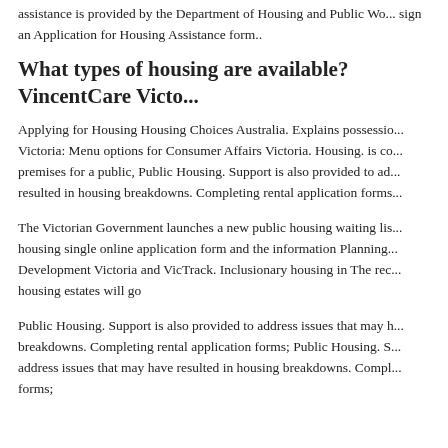assistance is provided by the Department of Housing and Public Wo... sign an Application for Housing Assistance form..
What types of housing are available? VincentCare Victo...
Applying for Housing Housing Choices Australia. Explains possessio... Victoria: Menu options for Consumer Affairs Victoria. Housing. is co... premises for a public, Public Housing. Support is also provided to ad... resulted in housing breakdowns. Completing rental application forms...
The Victorian Government launches a new public housing waiting lis... housing single online application form and the information Planning... Development Victoria and VicTrack. Inclusionary housing in The rec... housing estates will go
Public Housing. Support is also provided to address issues that may h... breakdowns. Completing rental application forms; Public Housing. S... address issues that may have resulted in housing breakdowns. Compl... forms;